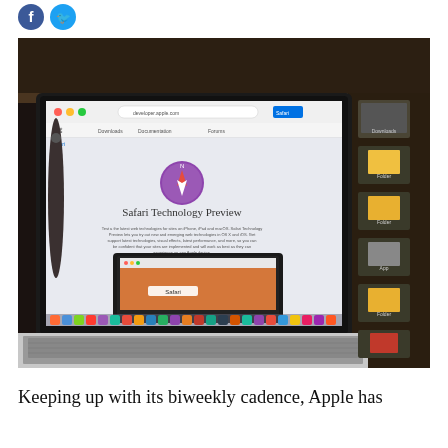[Figure (photo): Photograph of a MacBook Pro laptop displaying the Safari Technology Preview webpage on its screen, with the Apple developer website visible showing the Safari compass icon logo and the text 'Safari Technology Preview'. A smaller MacBook is visible on the desk in front. The dock is visible at the bottom of the screen. The setting appears to be a home/office with wooden shelving visible in the background.]
Keeping up with its biweekly cadence, Apple has